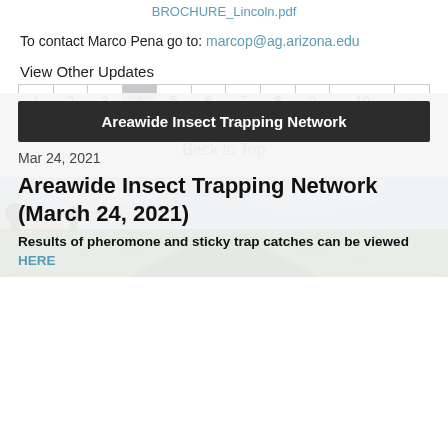BROCHURE_Lincoln.pdf
To contact Marco Pena go to: marcop@ag.arizona.edu
View Other Updates
| 1 | 2 | 3 | 4 | 5 | 6 | 7 | 8 | 9 | 10 | » |
| --- | --- | --- | --- | --- | --- | --- | --- | --- | --- | --- |
Back to Top
[Figure (photo): Farm road with green fields under a partly cloudy sky]
Areawide Insect Trapping Network
Mar 24, 2021
Areawide Insect Trapping Network (March 24, 2021)
Results of pheromone and sticky trap catches can be viewed HERE